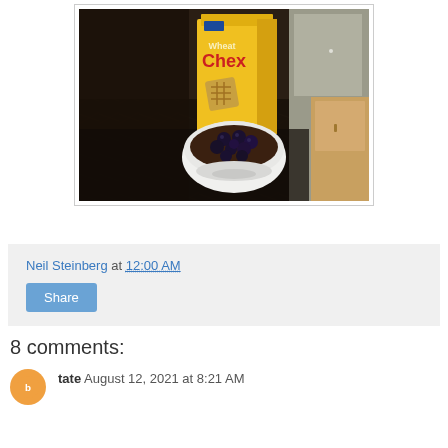[Figure (photo): A box of Wheat Chex cereal on a dark granite kitchen countertop, with a white bowl filled with cereal and blueberries in front of it. Wooden cabinets and a stainless steel refrigerator are visible in the background.]
Neil Steinberg at 12:00 AM
Share
8 comments:
tate  August 12, 2021 at 8:21 AM